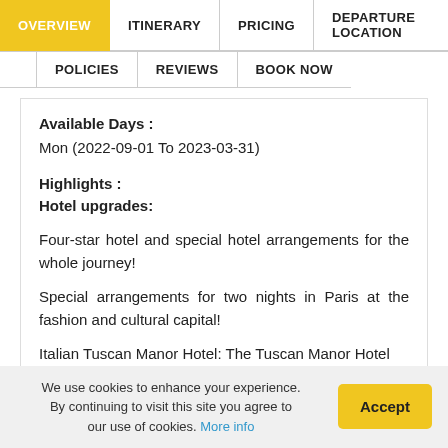OVERVIEW | ITINERARY | PRICING | DEPARTURE LOCATION | POLICIES | REVIEWS | BOOK NOW
Available Days :
Mon (2022-09-01 To 2023-03-31)
Highlights :
Hotel upgrades:
Four-star hotel and special hotel arrangements for the whole journey!
Special arrangements for two nights in Paris at the fashion and cultural capital!
Italian Tuscan Manor Hotel: The Tuscan Manor Hotel
We use cookies to enhance your experience. By continuing to visit this site you agree to our use of cookies. More info
Accept